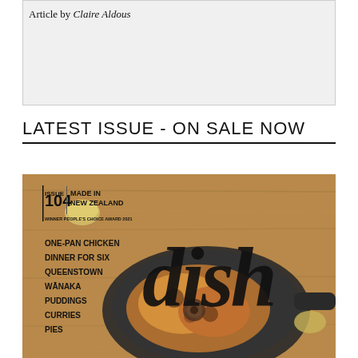Article by Claire Aldous
LATEST ISSUE - ON SALE NOW
[Figure (photo): Cover of Dish magazine Issue 104, Made in New Zealand. Winner People's Choice Award 2021. Features a cast iron pan with roasted chicken on a wooden board. Text lists: ONE-PAN CHICKEN, DINNER FOR SIX, QUEENSTOWN, WĀNAKA, PUDDINGS, CURRIES, PIES. Large cursive 'dish' logo overlaid.]